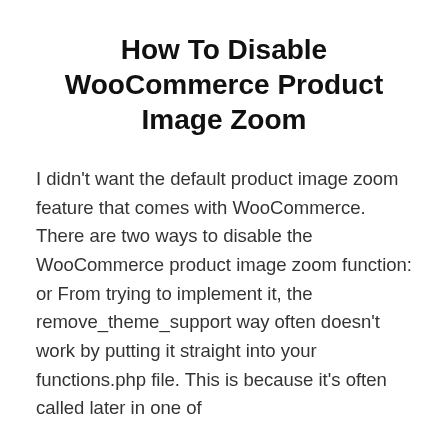How To Disable WooCommerce Product Image Zoom
I didn't want the default product image zoom feature that comes with WooCommerce. There are two ways to disable the WooCommerce product image zoom function: or From trying to implement it, the remove_theme_support way often doesn't work by putting it straight into your functions.php file. This is because it's often called later in one of